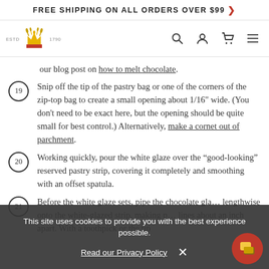FREE SHIPPING ON ALL ORDERS OVER $99 >
[Figure (logo): King Arthur Baking Company logo with crown and wheat, ESTD 1790, with navigation icons (search, account, cart, menu)]
our blog post on how to melt chocolate.
19 Snip off the tip of the pastry bag or one of the corners of the zip-top bag to create a small opening about 1/16" wide. (You don't need to be exact here, but the opening should be quite small for best control.) Alternatively, make a cornet out of parchment.
20 Working quickly, pour the white glaze over the "good-looking" reserved pastry strip, covering it completely and smoothing with an offset spatula.
21 Before the white glaze sets, pipe the chocolate glaze lengthwise onto the white-glazed strip, making parallel lines about an inch apart. With a toothpick or the tip
This site uses cookies to provide you with the best experience possible.
Read our Privacy Policy